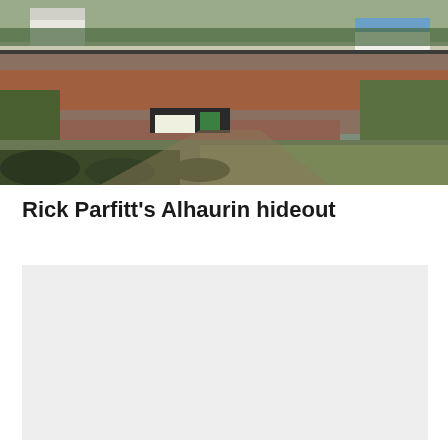[Figure (photo): Aerial or elevated view of a rural Spanish hillside landscape with terraced fields, red soil, green vegetation, buildings including white structures and a blue-roofed building visible in the background.]
Rick Parfitt's Alhaurin hideout
[Figure (photo): Placeholder image area — light grey rectangle, content not visible.]